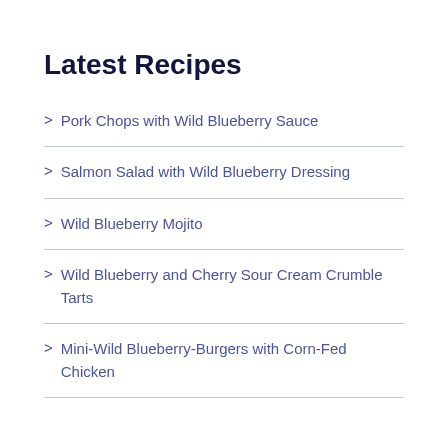Latest Recipes
Pork Chops with Wild Blueberry Sauce
Salmon Salad with Wild Blueberry Dressing
Wild Blueberry Mojito
Wild Blueberry and Cherry Sour Cream Crumble Tarts
Mini-Wild Blueberry-Burgers with Corn-Fed Chicken